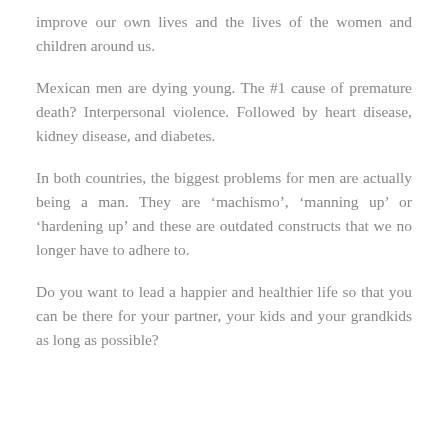improve our own lives and the lives of the women and children around us.
Mexican men are dying young. The #1 cause of premature death? Interpersonal violence. Followed by heart disease, kidney disease, and diabetes.
In both countries, the biggest problems for men are actually being a man. They are ‘machismo’, ‘manning up’ or ‘hardening up’ and these are outdated constructs that we no longer have to adhere to.
Do you want to lead a happier and healthier life so that you can be there for your partner, your kids and your grandkids as long as possible?